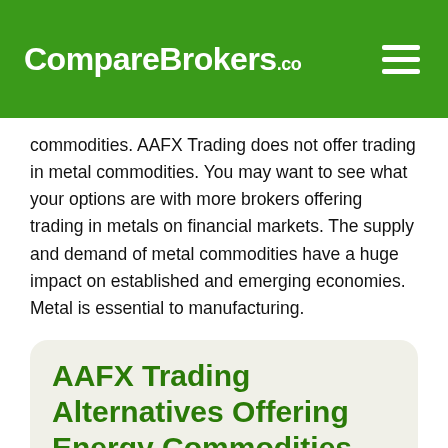CompareBrokers.co
commodities. AAFX Trading does not offer trading in metal commodities. You may want to see what your options are with more brokers offering trading in metals on financial markets. The supply and demand of metal commodities have a huge impact on established and emerging economies. Metal is essential to manufacturing.
AAFX Trading Alternatives Offering Energy Commodities
See how AAFX Trading alternatives compare in the energy commodities they offer. Energy commodities are essential to the running of the world. Oil, Electricity, Gas as all in